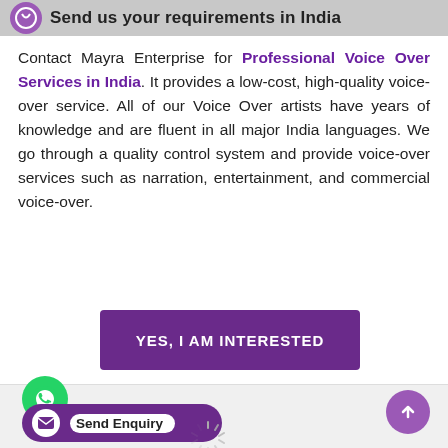Send us your requirements in India
Contact Mayra Enterprise for Professional Voice Over Services in India. It provides a low-cost, high-quality voice-over service. All of our Voice Over artists have years of knowledge and are fluent in all major India languages. We go through a quality control system and provide voice-over services such as narration, entertainment, and commercial voice-over.
[Figure (other): Purple button with white text: YES, I AM INTERESTED]
[Figure (other): WhatsApp green circle icon, Send Enquiry pill button, up-arrow purple circle, and loading spinner at bottom of page]